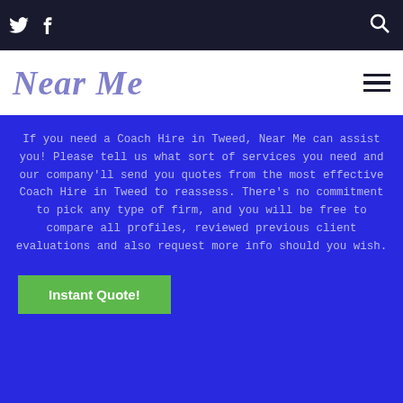Twitter icon, Facebook icon, Search icon
Near Me
If you need a Coach Hire in Tweed, Near Me can assist you! Please tell us what sort of services you need and our company'll send you quotes from the most effective Coach Hire in Tweed to reassess. There's no commitment to pick any type of firm, and you will be free to compare all profiles, reviewed previous client evaluations and also request more info should you wish.
Instant Quote!